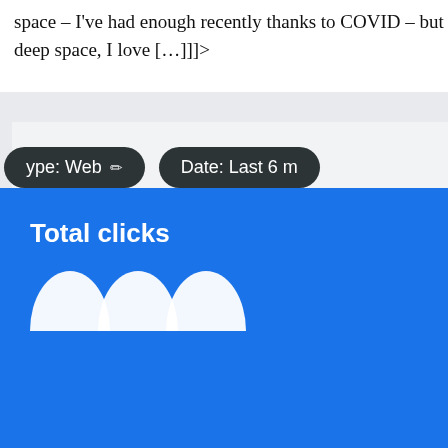space – I've had enough recently thanks to COVID – but deep space, I love […]]]>
[Figure (screenshot): A cropped screenshot of a web analytics dashboard (Google Search Console). Two dark pill-shaped buttons are visible: 'ype: Web' with a pencil icon, and 'Date: Last 6 m'. Below is a blue section with 'Total clicks' label and partial white arc/number shapes at the bottom.]